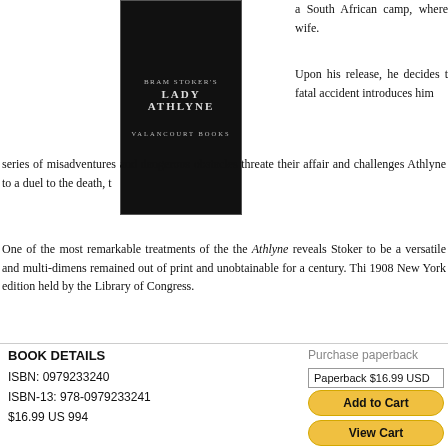[Figure (illustration): Book cover for Bram Stoker's Lady Athlyne, published by Valancourt Books. Black background with white text.]
a South African camp, where wife.
Upon his release, he decides t fatal accident introduces him series of misadventures and dangerous obstacles threate their affair and challenges Athlyne to a duel to the death, t
One of the most remarkable treatments of the the Athlyne reveals Stoker to be a versatile and multi-dimens remained out of print and unobtainable for a century. Thi 1908 New York edition held by the Library of Congress.
BOOK DETAILS
ISBN: 0979233240
ISBN-13: 978-0979233241
$16.99 US 994
Purchase paperback
Paperback $16.99 USD
Add to Cart
View Cart